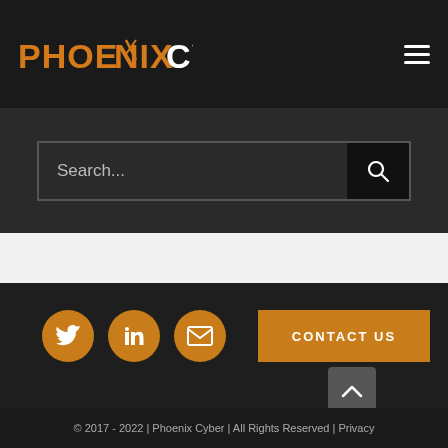PHOENIX CYBER
[Figure (screenshot): Search bar with placeholder text 'Search...' and a search icon button on dark background]
[Figure (infographic): Social media icons (Twitter, LinkedIn, Email) as orange circles, and a CONTACT US orange button]
© 2017 - 2022 | Phoenix Cyber | All Rights Reserved | Privacy